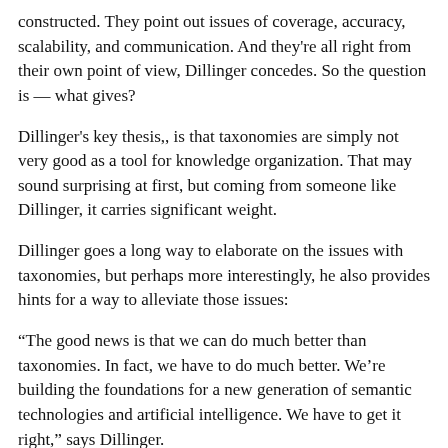constructed. They point out issues of coverage, accuracy, scalability, and communication. And they're all right from their own point of view, Dillinger concedes. So the question is — what gives?
Dillinger's key thesis,, is that taxonomies are simply not very good as a tool for knowledge organization. That may sound surprising at first, but coming from someone like Dillinger, it carries significant weight.
Dillinger goes a long way to elaborate on the issues with taxonomies, but perhaps more interestingly, he also provides hints for a way to alleviate those issues:
“The good news is that we can do much better than taxonomies. In fact, we have to do much better. We’re building the foundations for a new generation of semantic technologies and artificial intelligence. We have to get it right,” says Dillinger.
Dillinger goes on to talk about more reliable building blocks than taxonomies for AI. He cites concept catalogs, concept models, explicit relation concepts, more realistic epistemological assumptions, and next-generation knowledge graphs.
It’s the next generation, Dillinger says, because today’s knowledge graphs do not always use concepts with explicit human-readable